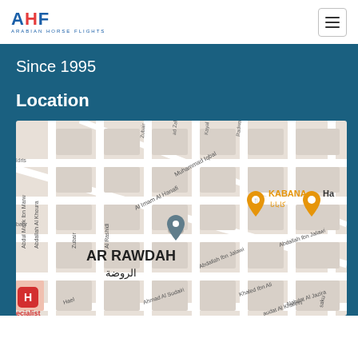AHF - Arabian Horse Flights
Since 1995
Location
[Figure (map): Google Maps view showing AR RAWDAH / الروضة neighborhood with street names including Muhammad Iqbal, Al Imam Al Hanafi, Abdallah Ibn Jalawi, Ahmad Al Sudairi, Abdul Malik Ibn Marw, Abdallah Al Khoura. A location pin is visible in the center. Orange restaurant markers for KABANA / كابانا and another establishment labeled Ha are visible. A red H marker labeled ecialist is in the bottom left corner.]